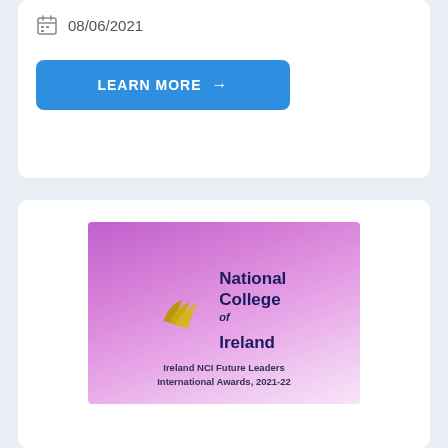08/06/2021
LEARN MORE →
[Figure (logo): National College of Ireland logo with golden wing marks on purple-to-white gradient background. Text: 'National College of Ireland' and subtitle 'Ireland NCI Future Leaders International Awards, 2021-22']